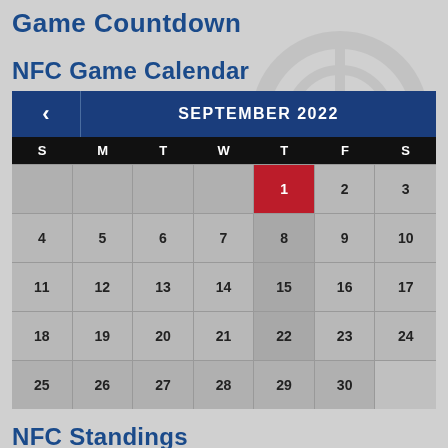Game Countdown
NFC Game Calendar
[Figure (other): NFC Game Calendar showing September 2022. A calendar widget with navigation arrow on the left. Days of week header row (S M T W T F S) in black. Calendar dates: 1 (highlighted in red as today/current), 2, 3; 4-10; 11-17; 18-24; 25-30. Thursday column (5th column) has darker background. The 1st is Thursday September 1 2022.]
NFC Standings